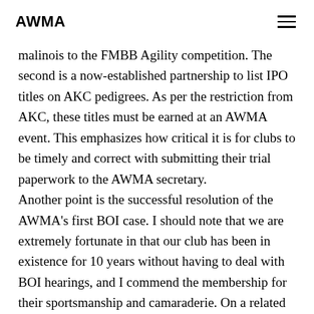AWMA
malinois to the FMBB Agility competition. The second is a now-established partnership to list IPO titles on AKC pedigrees. As per the restriction from AKC, these titles must be earned at an AWMA event. This emphasizes how critical it is for clubs to be timely and correct with submitting their trial paperwork to the AWMA secretary. Another point is the successful resolution of the AWMA's first BOI case. I should note that we are extremely fortunate in that our club has been in existence for 10 years without having to deal with BOI hearings, and I commend the membership for their sportsmanship and camaraderie. On a related note, it appears that we have averted a lawsuit from someone